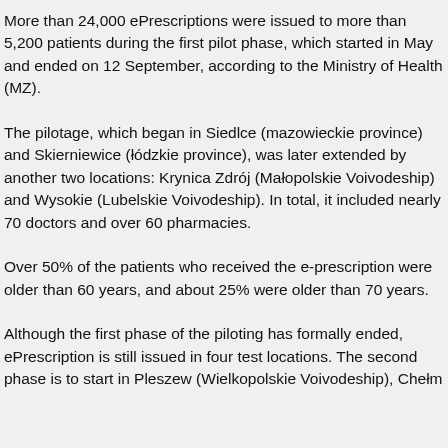More than 24,000 ePrescriptions were issued to more than 5,200 patients during the first pilot phase, which started in May and ended on 12 September, according to the Ministry of Health (MZ).
The pilotage, which began in Siedlce (mazowieckie province) and Skierniewice (łódzkie province), was later extended by another two locations: Krynica Zdrój (Małopolskie Voivodeship) and Wysokie (Lubelskie Voivodeship). In total, it included nearly 70 doctors and over 60 pharmacies.
Over 50% of the patients who received the e-prescription were older than 60 years, and about 25% were older than 70 years.
Although the first phase of the piloting has formally ended, ePrescription is still issued in four test locations. The second phase is to start in Pleszew (Wielkopolskie Voivodeship), Chełm